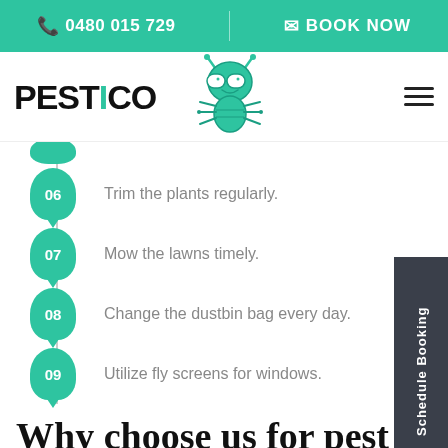0480 015 729  |  BOOK NOW
[Figure (logo): PESTICO logo with green bug mascot wearing glasses]
Trim the plants regularly.
Mow the lawns timely.
Change the dustbin bag every day.
Utilize fly screens for windows.
Why choose us for pest